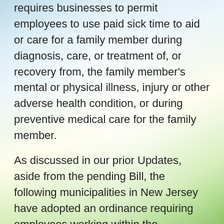requires businesses to permit employees to use paid sick time to aid or care for a family member during diagnosis, care, or treatment of, or recovery from, the family member's mental or physical illness, injury or other adverse health condition, or during preventive medical care for the family member.
As discussed in our prior Updates, aside from the pending Bill, the following municipalities in New Jersey have adopted an ordinance requiring employees working within the municipalities to be provided paid sick leave: Bloomfield, East Orange, Trenton, New Brunswick, Montclair, Elizabeth, Jersey City, Newark, Irvington, Plainfield, Paterson and Passaic.
What if a business operates in a municipality with an